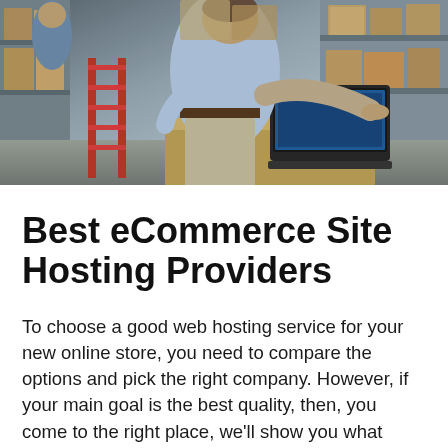[Figure (photo): Photo of a person working at a laptop in a warehouse or shipping room, surrounded by cardboard boxes on shelves. A red step ladder is visible on the left. Another person is partially visible in the background.]
Best eCommerce Site Hosting Providers
To choose a good web hosting service for your new online store, you need to compare the options and pick the right company. However, if your main goal is the best quality, then, you come to the right place, we'll show you what really works for eCommerce sites with little traffic and if your site… Read this…